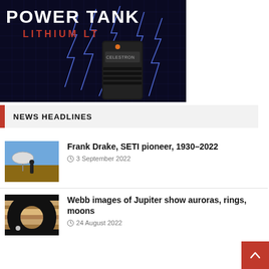[Figure (photo): Advertisement for Power Tank Lithium LT battery device, showing the product against a dark lightning background with the text POWER TANK and LITHIUM LT]
NEWS HEADLINES
[Figure (photo): Thumbnail image of a radio telescope dish with a man standing in front]
Frank Drake, SETI pioneer, 1930–2022
3 September 2022
[Figure (photo): Thumbnail image of Jupiter showing bands and atmospheric features]
Webb images of Jupiter show auroras, rings, moons
24 August 2022